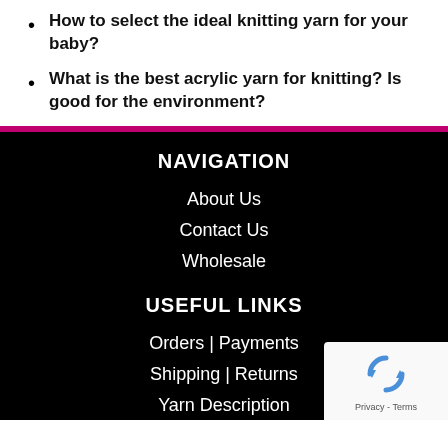How to select the ideal knitting yarn for your baby?
What is the best acrylic yarn for knitting? Is good for the environment?
NAVIGATION
About Us
Contact Us
Wholesale
USEFUL LINKS
Orders | Payments
Shipping | Returns
Yarn Description